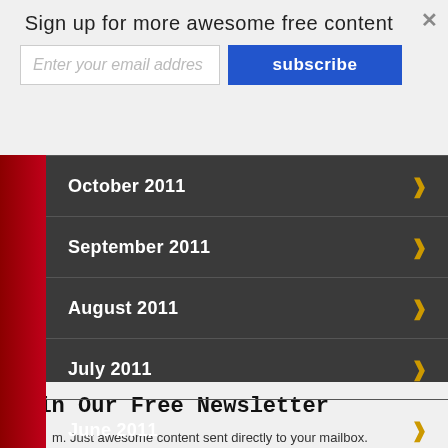Sign up for more awesome free content
Enter your email addres
subscribe
October 2011
September 2011
August 2011
July 2011
June 2011
May 2011
April 2011
March 2011
Join Our Free Newsletter
m. Just awesome content sent directly to your mailbox.